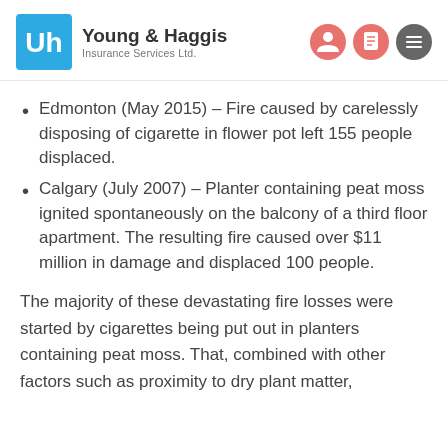Young & Haggis Insurance Services Ltd.
Edmonton (May 2015) – Fire caused by carelessly disposing of cigarette in flower pot left 155 people displaced.
Calgary (July 2007) – Planter containing peat moss ignited spontaneously on the balcony of a third floor apartment. The resulting fire caused over $11 million in damage and displaced 100 people.
The majority of these devastating fire losses were started by cigarettes being put out in planters containing peat moss. That, combined with other factors such as proximity to dry plant matter,